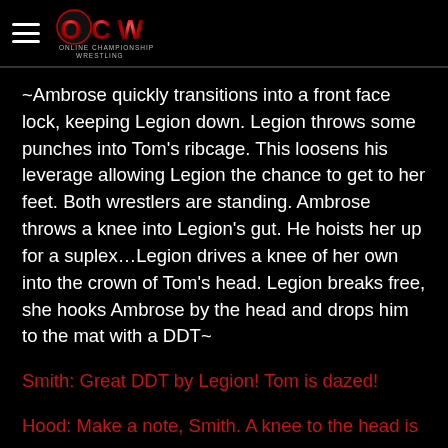OCW Online Championship Wrestling
~Ambrose quickly transitions into a front face lock, keeping Legion down. Legion throws some punches into Tom's ribcage. This loosens his leverage allowing Legion the chance to get to her feet. Both wrestlers are standing. Ambrose throws a knee into Legion's gut. He hoists her up for a suplex…Legion drives a knee of her own into the crown of Tom's head. Legion breaks free, she hooks Ambrose by the head and drops him to the mat with a DDT~
Smith: Great DDT by Legion! Tom is dazed!
Hood: Make a note, Smith. A knee to the head is more